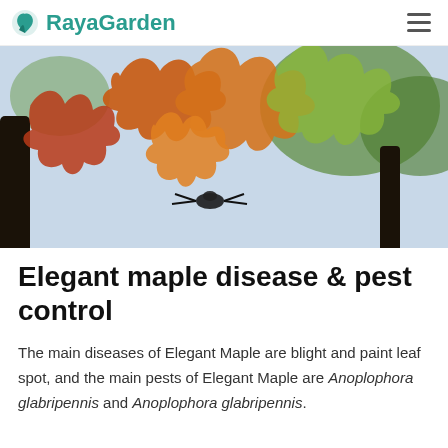RayaGarden
[Figure (photo): Close-up photograph of autumn maple leaves in orange, red, and green colors with tree branches visible against a light sky background.]
Elegant maple disease & pest control
The main diseases of Elegant Maple are blight and paint leaf spot, and the main pests of Elegant Maple are Anoplophora glabripennis and Anoplophora glabripennis.